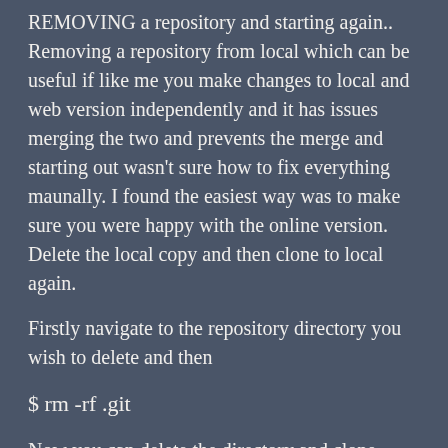REMOVING a repository and starting again.. Removing a repository from local which can be useful if like me you make changes to local and web version independently and it has issues merging the two and prevents the merge and starting out wasn't sure how to fix everything maunally. I found the easiest way was to make sure you were happy with the online version. Delete the local copy and then clone to local again.
Firstly navigate to the repository directory you wish to delete and then
$ rm -rf .git
Now you can delete the directory and clone